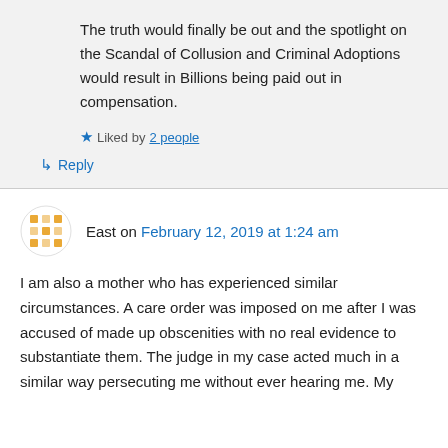The truth would finally be out and the spotlight on the Scandal of Collusion and Criminal Adoptions would result in Billions being paid out in compensation.
★ Liked by 2 people
↳ Reply
East on February 12, 2019 at 1:24 am
I am also a mother who has experienced similar circumstances. A care order was imposed on me after I was accused of made up obscenities with no real evidence to substantiate them. The judge in my case acted much in a similar way persecuting me without ever hearing me. My